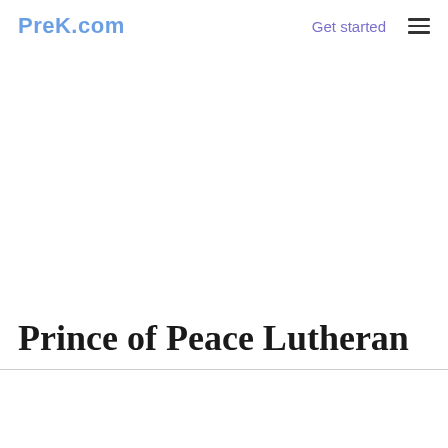PreK.com
Get started
Prince of Peace Lutheran